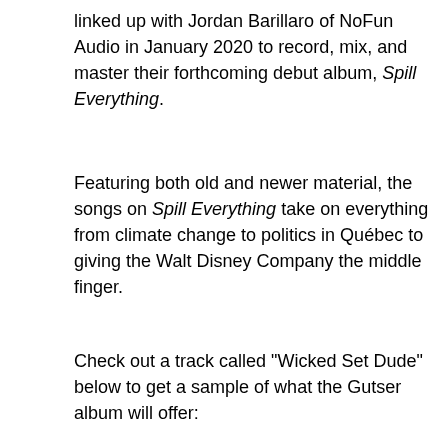linked up with Jordan Barillaro of NoFun Audio in January 2020 to record, mix, and master their forthcoming debut album, Spill Everything.
Featuring both old and newer material, the songs on Spill Everything take on everything from climate change to politics in Québec to giving the Walt Disney Company the middle finger.
Check out a track called "Wicked Set Dude" below to get a sample of what the Gutser album will offer:
[Figure (screenshot): YouTube video embed showing Gutser - Wicked Set Dude (Audio) with a play button overlay on a dark background with musical equipment on a wooden surface]